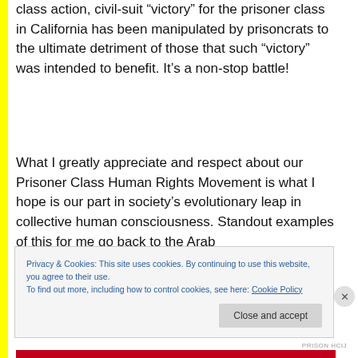class action, civil-suit “victory” for the prisoner class in California has been manipulated by prisoncrats to the ultimate detriment of those that such “victory” was intended to benefit. It’s a non-stop battle!
What I greatly appreciate and respect about our Prisoner Class Human Rights Movement is what I hope is our part in society’s evolutionary leap in collective human consciousness. Standout examples of this for me go back to the Arab
Privacy & Cookies: This site uses cookies. By continuing to use this website, you agree to their use.
To find out more, including how to control cookies, see here: Cookie Policy